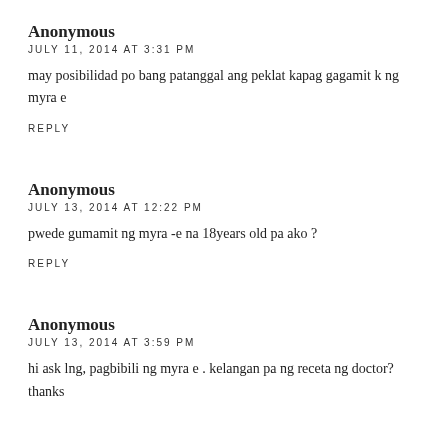Anonymous
JULY 11, 2014 AT 3:31 PM
may posibilidad po bang patanggal ang peklat kapag gagamit k ng myra e
REPLY
Anonymous
JULY 13, 2014 AT 12:22 PM
pwede gumamit ng myra -e na 18years old pa ako ?
REPLY
Anonymous
JULY 13, 2014 AT 3:59 PM
hi ask lng, pagbibili ng myra e . kelangan pa ng receta ng doctor? thanks